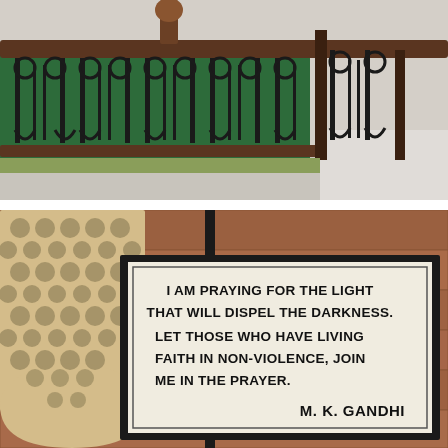[Figure (photo): Photograph of decorative wrought iron railing with green painted panels and scrollwork, along a walkway with white curb.]
[Figure (photo): Photograph of a stone wall with ornamental lattice stonework (jali), featuring a framed sign with a Gandhi quote: 'I AM PRAYING FOR THE LIGHT THAT WILL DISPEL THE DARKNESS. LET THOSE WHO HAVE LIVING FAITH IN NON-VIOLENCE, JOIN ME IN THE PRAYER. M. K. GANDHI']